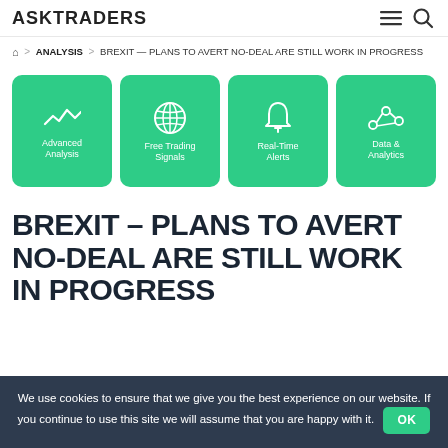ASKTRADERS
🏠 > ANALYSIS > BREXIT — PLANS TO AVERT NO-DEAL ARE STILL WORK IN PROGRESS
[Figure (infographic): Four green rounded square cards in a row: 1) Advanced Analysis (with pulse/waveform icon), 2) Free Trading Signals (with globe icon), 3) Real-Time Alerts (with bell icon), 4) Data & Analytics (with network/scatter icon)]
BREXIT – PLANS TO AVERT NO-DEAL ARE STILL WORK IN PROGRESS
We use cookies to ensure that we give you the best experience on our website. If you continue to use this site we will assume that you are happy with it. OK